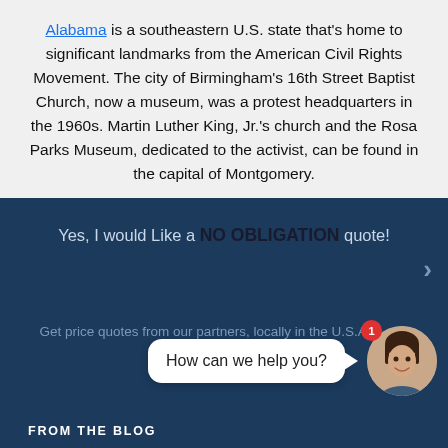Alabama is a southeastern U.S. state that's home to significant landmarks from the American Civil Rights Movement. The city of Birmingham's 16th Street Baptist Church, now a museum, was a protest headquarters in the 1960s. Martin Luther King, Jr.'s church and the Rosa Parks Museum, dedicated to the activist, can be found in the capital of Montgomery.
Yes, I would Like a NO OBLIGATION quote!
Get price quotes from our partners, locally in the U.S.A.
How can we help you?
FROM THE BLOG